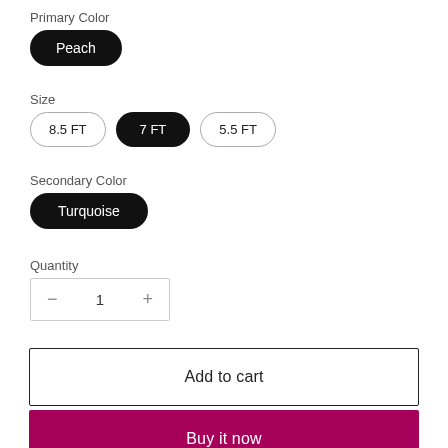Primary Color
Peach
Size
8.5 FT
7 FT
5.5 FT
Secondary Color
Turquoise
Quantity
1
Add to cart
Buy it now